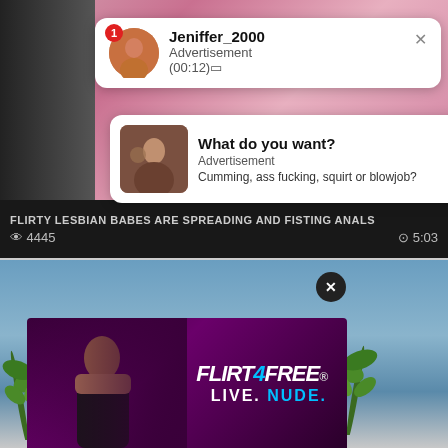[Figure (screenshot): Background showing colorful/adult website content behind notification popups]
Jeniffer_2000
Advertisement
(00:12)🔲
What do you want?
Advertisement
Cumming, ass fucking, squirt or blowjob?
FLIRTY LESBIAN BABES ARE SPREADING AND FISTING ANALS
👁 4445
🕐 5:03
[Figure (photo): Video thumbnail showing person in front of blue background with plants]
[Figure (advertisement): Flirt4Free advertisement banner with woman figure. Shows FLIRT4FREE logo and LIVE. NUDE. tagline]